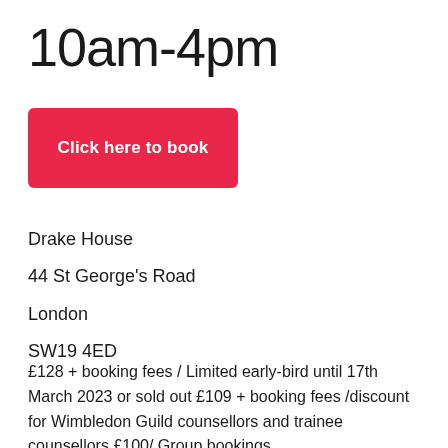10am-4pm
[Figure (other): Red button with white text 'Click here to book']
Drake House
44 St George's Road
London
SW19 4ED
£128 + booking fees / Limited early-bird until 17th March 2023 or sold out £109 + booking fees /discount for Wimbledon Guild counsellors and trainee counsellors £100/ Group bookings